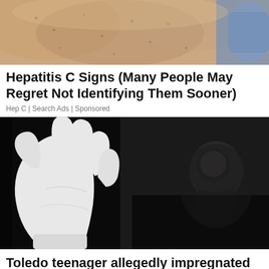[Figure (photo): Close-up photo of skin with spots, possibly showing a medical condition, with a blue-gloved hand visible at the edge]
Hepatitis C Signs (Many People May Regret Not Identifying Them Sooner)
Hep C | Search Ads | Sponsored
[Figure (photo): Black and white photo of a hand raised in a stop/defensive gesture with a silhouette of a person crouching in the background]
Toledo teenager allegedly impregnated by her